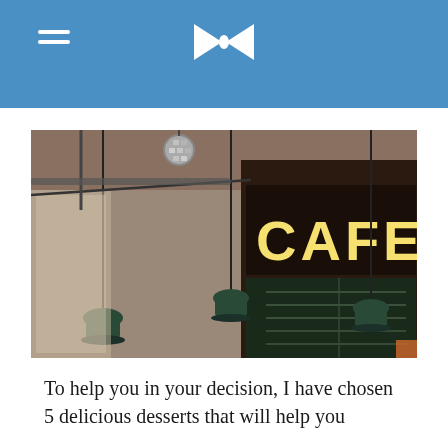[navigation header with hamburger menu and bowtie logo]
[Figure (photo): Interior of a cafe with pendant lamps hanging from ceiling, a illuminated CAFE sign in large letters on a dark wooden board, and a chalkboard menu in the background]
To help you in your decision, I have chosen 5 delicious desserts that will help you...